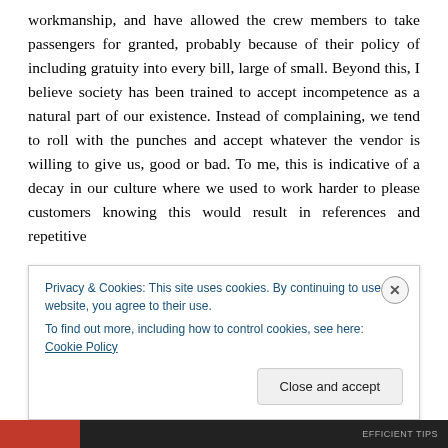workmanship, and have allowed the crew members to take passengers for granted, probably because of their policy of including gratuity into every bill, large of small. Beyond this, I believe society has been trained to accept incompetence as a natural part of our existence. Instead of complaining, we tend to roll with the punches and accept whatever the vendor is willing to give us, good or bad. To me, this is indicative of a decay in our culture where we used to work harder to please customers knowing this would result in references and repetitive
Privacy & Cookies: This site uses cookies. By continuing to use this website, you agree to their use.
To find out more, including how to control cookies, see here: Cookie Policy
Close and accept